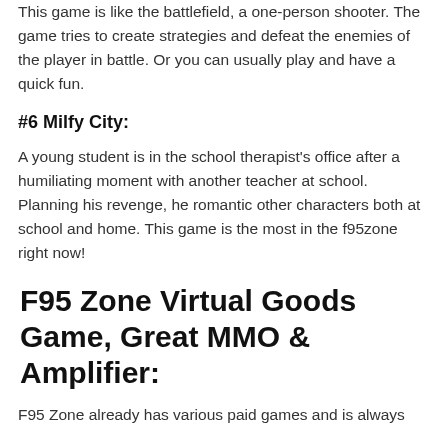This game is like the battlefield, a one-person shooter. The game tries to create strategies and defeat the enemies of the player in battle. Or you can usually play and have a quick fun.
#6 Milfy City:
A young student is in the school therapist's office after a humiliating moment with another teacher at school. Planning his revenge, he romantic other characters both at school and home. This game is the most in the f95zone right now!
F95 Zone Virtual Goods Game, Great MMO & Amplifier:
F95 Zone already has various paid games and is always